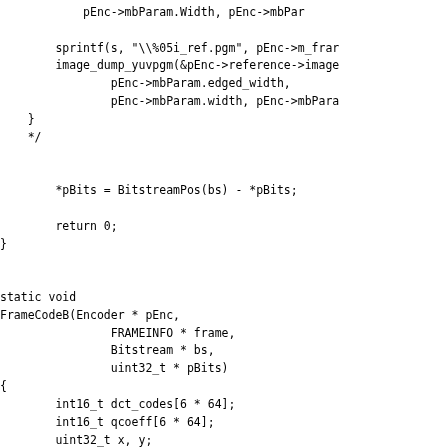pEnc->mbParam.Width, pEnc->mbPar

        sprintf(s, "\\%05i_ref.pgm", pEnc->m_frar
        image_dump_yuvpgm(&pEnc->reference->image
                pEnc->mbParam.edged_width,
                pEnc->mbParam.width, pEnc->mbPara
    }
    */


        *pBits = BitstreamPos(bs) - *pBits;

        return 0;
}


static void
FrameCodeB(Encoder * pEnc,
                FRAMEINFO * frame,
                Bitstream * bs,
                uint32_t * pBits)
{
        int16_t dct_codes[6 * 64];
        int16_t qcoeff[6 * 64];
        uint32_t x, y;

        IMAGE *f_ref = &pEnc->reference->image;
        IMAGE *b_ref = &pEnc->current->image;

#ifdef BFRAMES_DEC_DEBUG